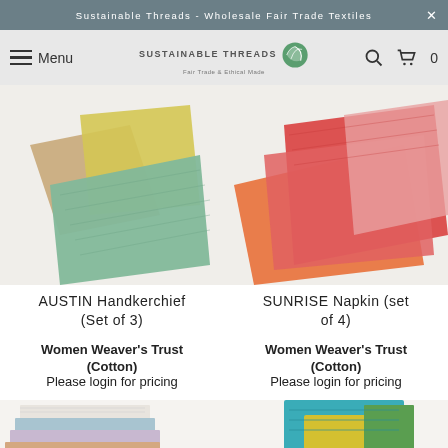Sustainable Threads - Wholesale Fair Trade Textiles
[Figure (screenshot): Navigation bar with hamburger menu, Sustainable Threads logo, search icon, and cart icon showing 0 items]
[Figure (photo): Top-left product image: folded handkerchiefs in tan, yellow, and mint/green colors]
[Figure (photo): Top-right product image: folded napkins in red/orange/pink gradient colors]
AUSTIN Handkerchief (Set of 3)
Women Weaver's Trust (Cotton)
Please login for pricing
SUNRISE Napkin (set of 4)
Women Weaver's Trust (Cotton)
Please login for pricing
[Figure (photo): Bottom-left product image: stacked textile pieces in striped cream, blue, purple, and orange colors]
[Figure (photo): Bottom-right product image: folded textiles in teal/turquoise and yellow colors]